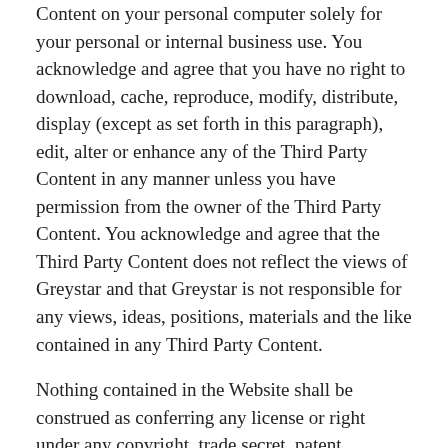Content on your personal computer solely for your personal or internal business use. You acknowledge and agree that you have no right to download, cache, reproduce, modify, distribute, display (except as set forth in this paragraph), edit, alter or enhance any of the Third Party Content in any manner unless you have permission from the owner of the Third Party Content. You acknowledge and agree that the Third Party Content does not reflect the views of Greystar and that Greystar is not responsible for any views, ideas, positions, materials and the like contained in any Third Party Content.
Nothing contained in the Website shall be construed as conferring any license or right under any copyright, trade secret, patent, trademark or other intellectual property rights ("IP Rights") of